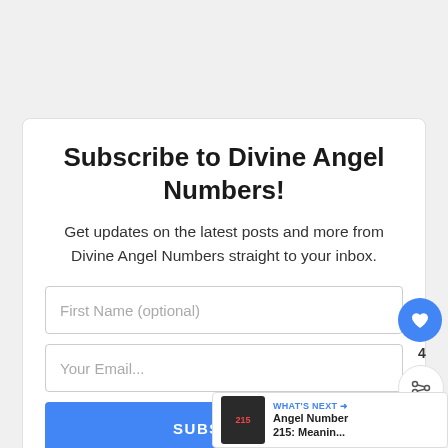Subscribe to Divine Angel Numbers!
Get updates on the latest posts and more from Divine Angel Numbers straight to your inbox.
[Figure (screenshot): Email subscription form with First Name (optional) input, Your Email... input, and a blue SUBSCRIBE button]
[Figure (infographic): Floating blue heart icon button with count 4 and share icon below]
WHAT'S NEXT → Angel Number 215: Meanin...